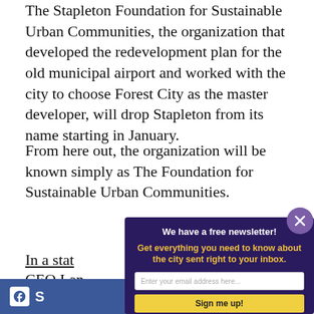The Stapleton Foundation for Sustainable Urban Communities, the organization that developed the redevelopment plan for the old municipal airport and worked with the city to choose Forest City as the master developer, will drop Stapleton from its name starting in January.
From here out, the organization will be known simply as The Foundation for Sustainable Urban Communities.
In a stat[ement, foundation] CEO Lan[...] growing [...] KKK co[nnections...] foundat[ion...]
Here's t[he...]
[Figure (screenshot): Newsletter signup modal overlay on dark purple background with white bold headline 'We have a free newsletter!', yellow bold subtext 'Get everything you need to know about the city sent right to your inbox.', email input field, and yellow 'Sign me up!' button. A purple close button with X is in the top right corner.]